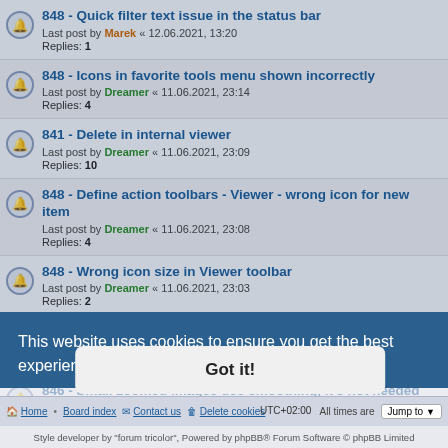848 - Quick filter text issue in the status bar
Last post by Marek « 12.06.2021, 13:20
Replies: 1
848 - Icons in favorite tools menu shown incorrectly
Last post by Dreamer « 11.06.2021, 23:14
Replies: 4
841 - Delete in internal viewer
Last post by Dreamer « 11.06.2021, 23:09
Replies: 10
848 - Define action toolbars - Viewer - wrong icon for new item
Last post by Dreamer « 11.06.2021, 23:08
Replies: 4
848 - Wrong icon size in Viewer toolbar
Last post by Dreamer « 11.06.2021, 23:03
Replies: 2
846 - Multi-page images label and splitter issues
Last post by Dreamer « 09.06.2021, 20:56
Replies: 3
846 - Small zoomed images use smoothing, it's not needed
Last post by Dreamer « 08.06.2021, 22:40
Replies: 1
847 - Overwrite dialog doesn't remember position
Replies: 2
This website uses cookies to ensure you get the best experience on our website. Learn more
Got it!
Home • Board index   Contact us   Delete cookies   All times are UTC+02:00
Style developer by "forum tricolor", Powered by phpBB® Forum Software © phpBB Limited